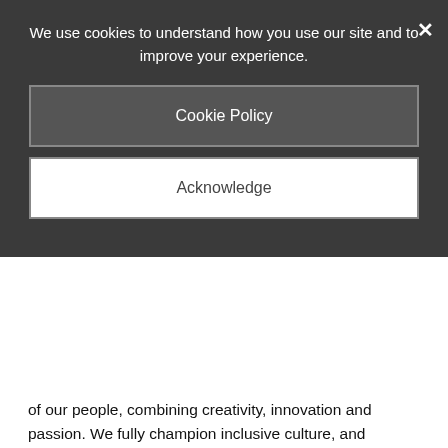We use cookies to understand how you use our site and to improve your experience.
Cookie Policy
Acknowledge
of our people, combining creativity, innovation and passion. We fully champion inclusive culture, and provide opportunities for growing, learning, and leading that allows for the most impactful and rewarding work of our teams' careers.
We put our people first, and we make sure they're taken care of both in and out of the office. As we reflect on our learnings and successes from remote work, we aim to provide dynamic, collaborative and flexible work environments for our teams. Our employees connect through our Employee Resource Groups, which are actively involved in driving business decisions every step of the way. But our support doesn't end at the workplace—we also encourage a balanced lifestyle with paid time off and new parent leave, free video games, fitness reimbursement and more.
Our goal is to provide a safe, respectful and inspiring